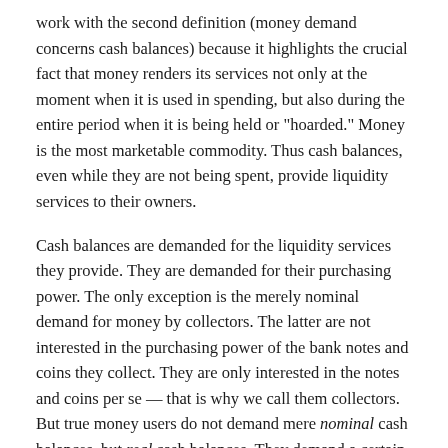work with the second definition (money demand concerns cash balances) because it highlights the crucial fact that money renders its services not only at the moment when it is used in spending, but also during the entire period when it is being held or "hoarded." Money is the most marketable commodity. Thus cash balances, even while they are not being spent, provide liquidity services to their owners.
Cash balances are demanded for the liquidity services they provide. They are demanded for their purchasing power. The only exception is the merely nominal demand for money by collectors. The latter are not interested in the purchasing power of the bank notes and coins they collect. They are only interested in the notes and coins per se — that is why we call them collectors. But true money users do not demand mere nominal cash balances, but real cash balances. They demand a certain purchasing power.[5]
The Demand for Money and the Price Level